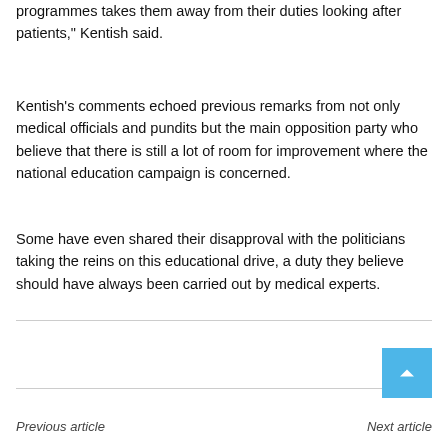programmes takes them away from their duties looking after patients," Kentish said.
Kentish's comments echoed previous remarks from not only medical officials and pundits but the main opposition party who believe that there is still a lot of room for improvement where the national education campaign is concerned.
Some have even shared their disapproval with the politicians taking the reins on this educational drive, a duty they believe should have always been carried out by medical experts.
[Figure (infographic): Social share bar with icons for Facebook, Twitter, Pinterest, WhatsApp, Reddit, Email, and Print]
Previous article
Next article